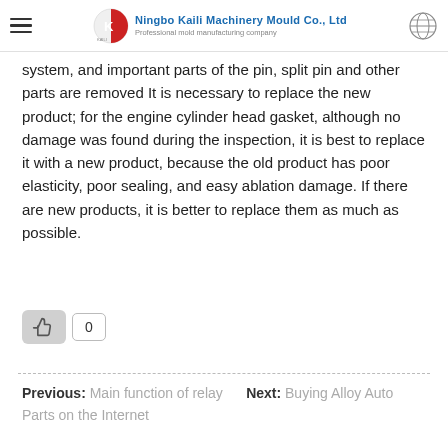Ningbo Kaili Machinery Mould Co., Ltd — Professional mold manufacturing company
system, and important parts of the pin, split pin and other parts are removed It is necessary to replace the new product; for the engine cylinder head gasket, although no damage was found during the inspection, it is best to replace it with a new product, because the old product has poor elasticity, poor sealing, and easy ablation damage. If there are new products, it is better to replace them as much as possible.
[Figure (other): Like/thumbs-up button with count showing 0]
Previous: Main function of relay    Next: Buying Alloy Auto Parts on the Internet